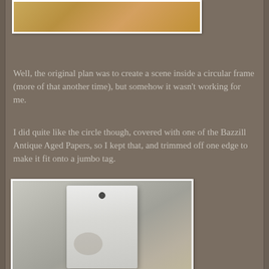[Figure (photo): Partial top crop of a photo showing a warm-toned scene, likely the top portion of a craft project or natural object]
Well, the original plan was to create a scene inside a circular frame (more of that another time), but somehow it wasn't working for me.
I did quite like the circle though, covered with one of the Bazzill Antique Aged Papers, so I kept that, and trimmed off one edge to make it fit onto a jumbo tag.
[Figure (photo): Photo of a white jumbo tag with a hole punch at the top, lying on a beige/tan surface. The tag appears plain white with some shadowing.]